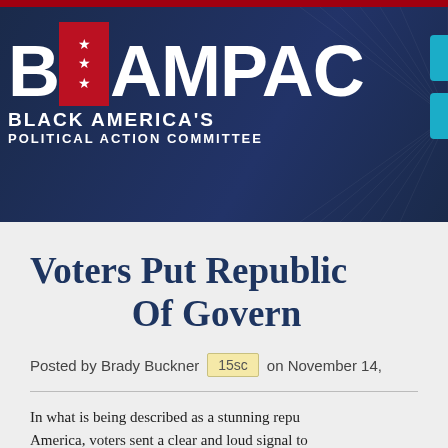[Figure (logo): BAMPAC - Black America's Political Action Committee logo on dark navy background with navigation buttons (Home, About, Issues)]
Voters Put Republicans In Charge Of Government
Posted by Brady Buckner  15sc  on November 14,
In what is being described as a stunning repu America, voters sent a clear and loud signal to had enough. BAMPAC candidates around the c